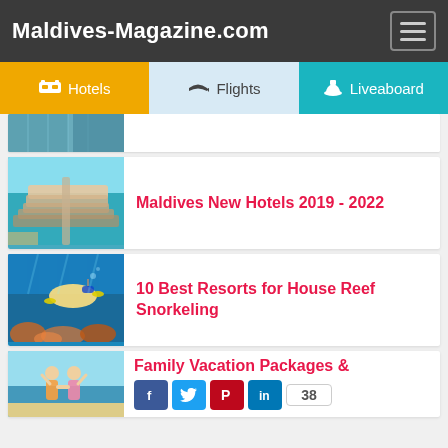Maldives-Magazine.com
[Figure (screenshot): Navigation menu with Hotels, Flights, Liveaboard tabs]
[Figure (photo): Partially visible resort aerial photo at top]
Maldives New Hotels 2019 - 2022
[Figure (photo): Aerial view of overwater bungalows in the Maldives]
10 Best Resorts for House Reef Snorkeling
[Figure (photo): Person snorkeling over coral reef]
Family Vacation Packages &
[Figure (photo): Two children holding hands on a beach]
38